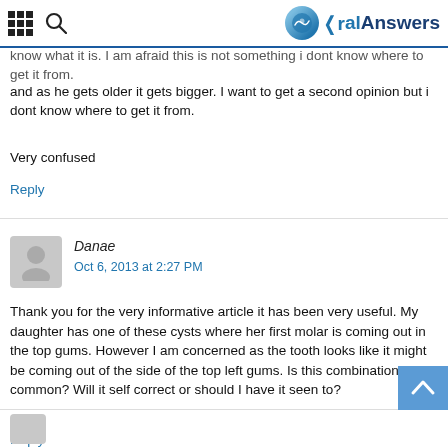Oral Answers
know what it is. I am afraid this is not something i dont know where to get it from.

Very confused
Reply
Danae
Oct 6, 2013 at 2:27 PM
Thank you for the very informative article it has been very useful. My daughter has one of these cysts where her first molar is coming out in the top gums. However I am concerned as the tooth looks like it might be coming out of the side of the top left gums. Is this combination common? Will it self correct or should I have it seen to?
Reply